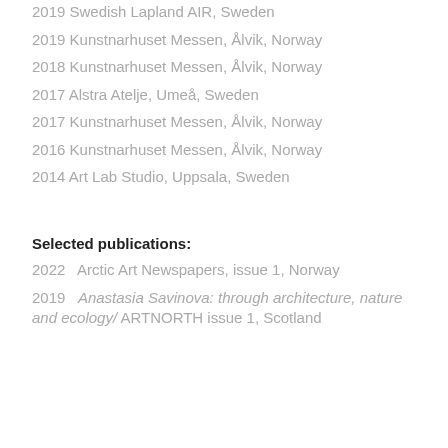2019 Swedish Lapland AIR, Sweden
2019 Kunstnarhuset Messen, Ålvik, Norway
2018 Kunstnarhuset Messen, Ålvik, Norway
2017 Alstra Atelje, Umeå, Sweden
2017 Kunstnarhuset Messen, Ålvik, Norway
2016 Kunstnarhuset Messen, Ålvik, Norway
2014 Art Lab Studio, Uppsala, Sweden
Selected publications:
2022   Arctic Art Newspapers, issue 1, Norway
2019   Anastasia Savinova: through architecture, nature and ecology/ ARTNORTH issue 1, Scotland